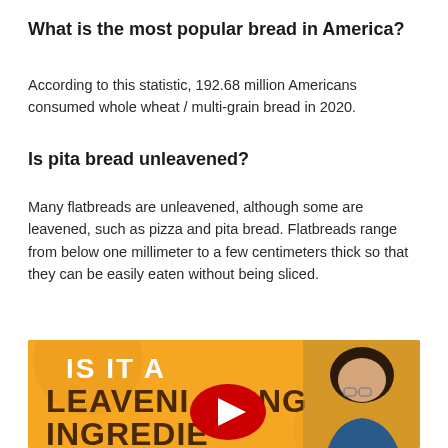What is the most popular bread in America?
According to this statistic, 192.68 million Americans consumed whole wheat / multi-grain bread in 2020.
Is pita bread unleavened?
Many flatbreads are unleavened, although some are leavened, such as pizza and pita bread. Flatbreads range from below one millimeter to a few centimeters thick so that they can be easily eaten without being sliced.
[Figure (screenshot): YouTube video thumbnail with orange/yellow background showing text 'IS IT A LEAVENING INGREDIENT' in bold white and dark brown letters, with a YouTube play button overlay, and a woman with glasses on the right side.]